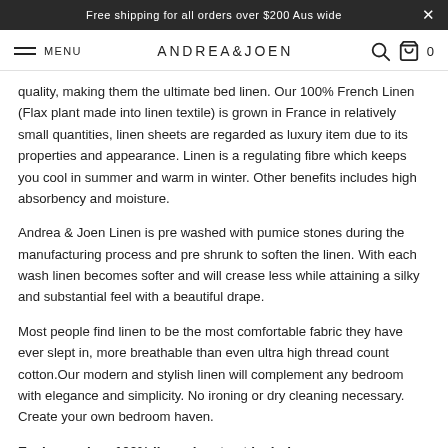Free shipping for all orders over $200 Aus wide
MENU  ANDREA&JOEN  0
quality, making them the ultimate bed linen. Our 100% French Linen (Flax plant made into linen textile) is grown in France in relatively small quantities, linen sheets are regarded as luxury item due to its properties and appearance. Linen is a regulating fibre which keeps you cool in summer and warm in winter. Other benefits includes high absorbency and moisture.
Andrea & Joen Linen is pre washed with pumice stones during the manufacturing process and pre shrunk to soften the linen. With each wash linen becomes softer and will crease less while attaining a silky and substantial feel with a beautiful drape.
Most people find linen to be the most comfortable fabric they have ever slept in, more breathable than even ultra high thread count cotton.Our modern and stylish linen will complement any bedroom with elegance and simplicity. No ironing or dry cleaning necessary. Create your own bedroom haven.
Each premium 100% linen duvet set includes: